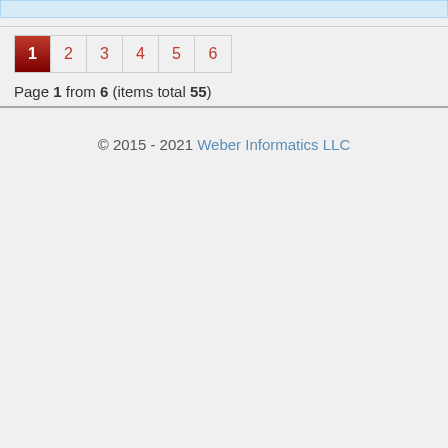Page 1 from 6 (items total 55)
© 2015 - 2021 Weber Informatics LLC